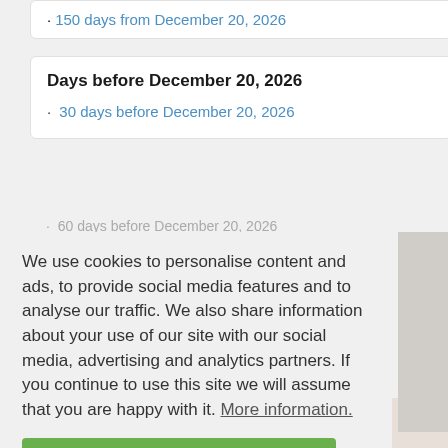150 days from December 20, 2026
Days before December 20, 2026
30 days before December 20, 2026
60 days before December 20, 2026
150 days before December 20, 2026
We use cookies to personalise content and ads, to provide social media features and to analyse our traffic. We also share information about your use of our site with our social media, advertising and analytics partners. If you continue to use this site we will assume that you are happy with it. More information.
Agree and close
© 2022 ... | Privacy Policy | Sitemap